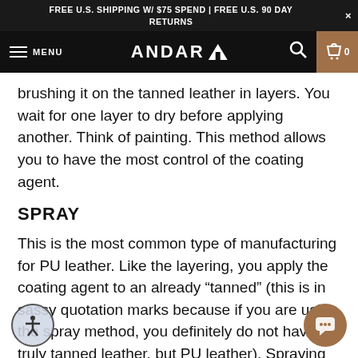FREE U.S. SHIPPING W/ $75 SPEND | FREE U.S. 90 DAY RETURNS
ANDAR — MENU
brushing it on the tanned leather in layers. You wait for one layer to dry before applying another. Think of painting. This method allows you to have the most control of the coating agent.
SPRAY
This is the most common type of manufacturing for PU leather. Like the layering, you apply the coating agent to an already “tanned” (this is in sassy quotation marks because if you are using the spray method, you definitely do not have truly tanned leather, but PU leather). Spraying is more efficient but has less of an element of control in general.